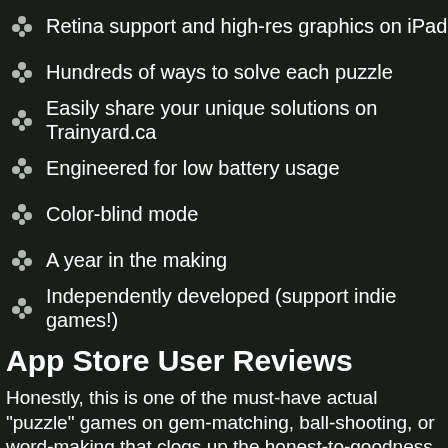Retina support and high-res graphics on iPad
Hundreds of ways to solve each puzzle
Easily share your unique solutions on Trainyard.ca
Engineered for low battery usage
Color-blind mode
A year in the making
Independently developed (support indie games!)
App Store User Reviews
Honestly, this is one of the must-have actual "puzzle" games on gem-matching, ball-shooting, or word-making that clogs up the honest-to-goodness brainteaser. I love it. Really, just buy it.
by Skamando
I'm not normally one for puzzles, and I don't normally finish app and get deleted half-finished. This one grabbed me, though, an